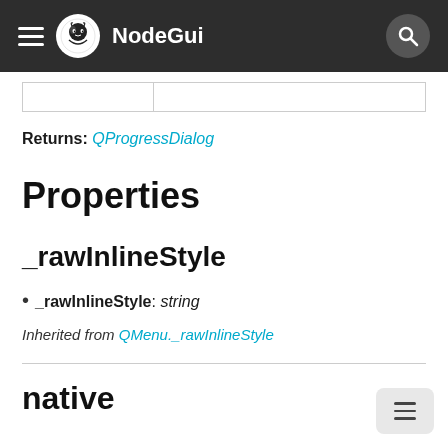NodeGui
|  |  |
Returns: QProgressDialog
Properties
_rawInlineStyle
• _rawInlineStyle: string
Inherited from QMenu._rawInlineStyle
native